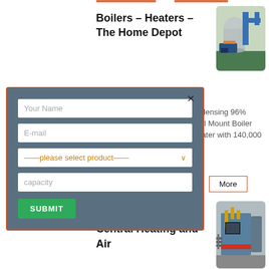Boilers – Heaters – The Home Depot
[Figure (photo): Industrial boiler room with large blue pipe machinery and silver tank]
e Condensing 96% ng Wall Mount Boiler Hot Water with 140,000
[Figure (screenshot): Modal popup form with fields: Your Name, E-mail, please select product dropdown, capacity, and SUBMIT button]
More
Residential Boilers – Central Heating and Air
[Figure (photo): Large industrial boiler with yellow piping and blue casing in a facility]